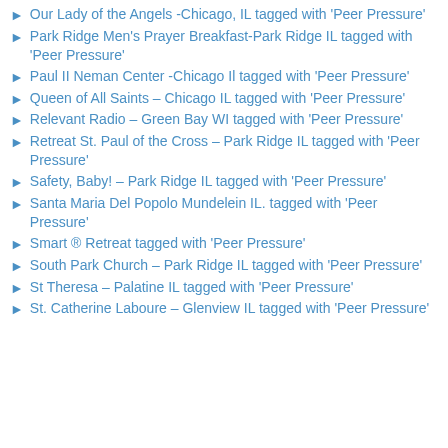Our Lady of the Angels -Chicago, IL tagged with 'Peer Pressure'
Park Ridge Men's Prayer Breakfast-Park Ridge IL tagged with 'Peer Pressure'
Paul II Neman Center -Chicago Il tagged with 'Peer Pressure'
Queen of All Saints – Chicago IL tagged with 'Peer Pressure'
Relevant Radio – Green Bay WI tagged with 'Peer Pressure'
Retreat St. Paul of the Cross – Park Ridge IL tagged with 'Peer Pressure'
Safety, Baby! – Park Ridge IL tagged with 'Peer Pressure'
Santa Maria Del Popolo Mundelein IL. tagged with 'Peer Pressure'
Smart ® Retreat tagged with 'Peer Pressure'
South Park Church – Park Ridge IL tagged with 'Peer Pressure'
St Theresa – Palatine IL tagged with 'Peer Pressure'
St. Catherine Laboure – Glenview IL tagged with 'Peer Pressure'